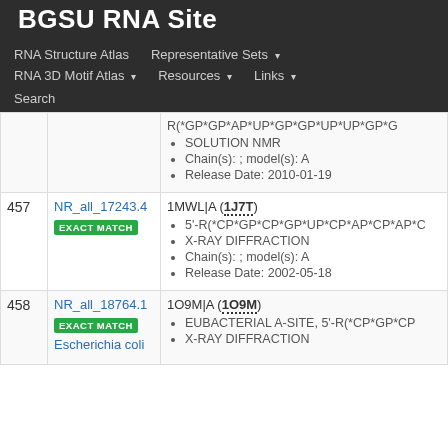BGSU RNA Site
RNA Structure Atlas | Representative Sets ▾ | RNA 3D Motif Atlas ▾ | Resources ▾ | Links ▾ | Search
| # | ID | Details |
| --- | --- | --- |
|  |  | R(*GP*GP*AP*UP*GP*GP*UP*UP*GP*G
• SOLUTION NMR
• Chain(s): ; model(s): A
• Release Date: 2010-01-19 |
| 457 | NR_all_17243.4 [EXACT MATCH] | 1MWL|A (1J7T)
• 5'-R(*CP*GP*CP*GP*UP*CP*AP*CP*AP*C
• X-RAY DIFFRACTION
• Chain(s): ; model(s): A
• Release Date: 2002-05-18 |
| 458 | NR_all_18764.1 [EXACT MATCH] Escherichia coli | 1O9M|A (1O9M)
• EUBACTERIAL A-SITE, 5'-R(*CP*GP*CP
• X-RAY DIFFRACTION |